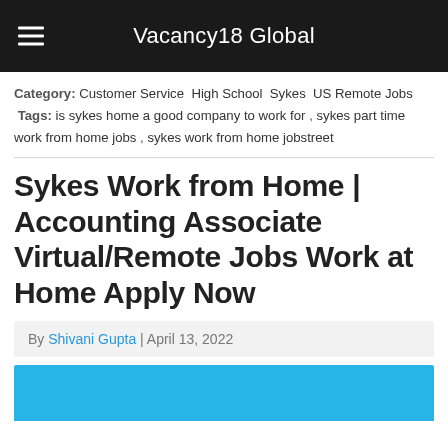Vacancy18 Global
Category: Customer Service  High School  Sykes  US Remote Jobs  Tags: is sykes home a good company to work for , sykes part time work from home jobs , sykes work from home jobstreet
Sykes Work from Home | Accounting Associate Virtual/Remote Jobs Work at Home Apply Now
By Shivani Gupta | April 13, 2022
[Figure (other): Blue banner/image area at bottom of page]